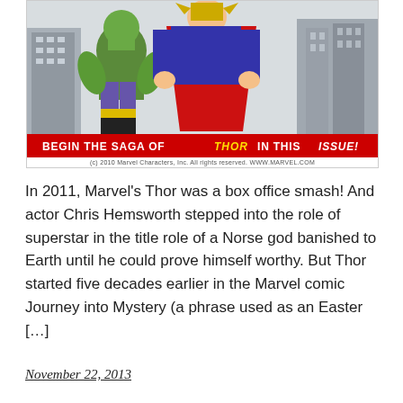[Figure (illustration): Comic book cover illustration showing Thor in red cape and black/yellow boots standing with The Hulk in an urban setting. Red banner reads 'BEGIN THE SAGA OF THOR IN THIS ISSUE!' with copyright bar below reading '(c) 2010 Marvel Characters, Inc. All rights reserved. WWW.MARVEL.COM']
In 2011, Marvel's Thor was a box office smash! And actor Chris Hemsworth stepped into the role of superstar in the title role of a Norse god banished to Earth until he could prove himself worthy. But Thor started five decades earlier in the Marvel comic Journey into Mystery (a phrase used as an Easter […]
November 22, 2013